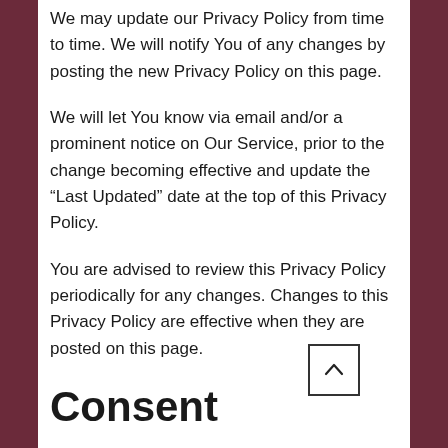We may update our Privacy Policy from time to time. We will notify You of any changes by posting the new Privacy Policy on this page.
We will let You know via email and/or a prominent notice on Our Service, prior to the change becoming effective and update the “Last Updated” date at the top of this Privacy Policy.
You are advised to review this Privacy Policy periodically for any changes. Changes to this Privacy Policy are effective when they are posted on this page.
Consent